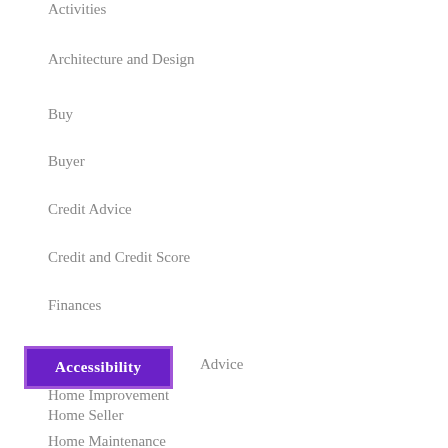Activities
Architecture and Design
Buy
Buyer
Credit Advice
Credit and Credit Score
Finances
Home Buyer Advice
Home Improvement
Home Maintenance
Home Maintenance Tips
Home Seller Advice
Home Seller